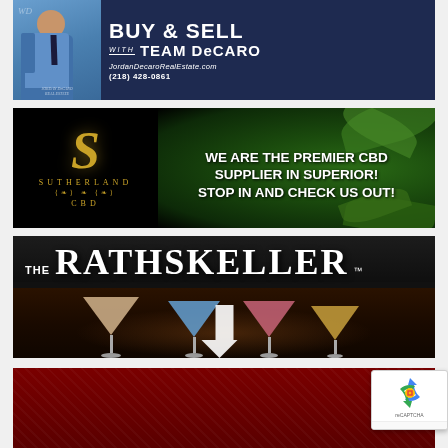[Figure (advertisement): Real estate advertisement for Team DeCaro with photo of Jordan DeCaro in blue shirt and tie. Text reads BUY & SELL WITH TEAM DeCARO, JordanDecaroRealEstate.com, (218) 428-0861]
[Figure (advertisement): Sutherland CBD advertisement with gold ornate S logo on black background, cannabis leaf imagery on right. Text: WE ARE THE PREMIER CBD SUPPLIER IN SUPERIOR! STOP IN AND CHECK US OUT!]
[Figure (advertisement): The Rathskeller bar advertisement with white text logo on dark background, showing cocktail glasses (martinis) in foreground. Large gothic-style lettering reads THE RATHSKELLER with TM mark.]
[Figure (advertisement): Partial red/dark advertisement visible at very bottom of page, cropped.]